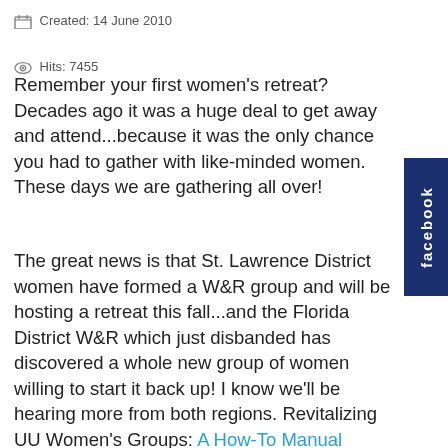Created: 14 June 2010
Hits: 7455
Remember your first women's retreat? Decades ago it was a huge deal to get away and attend...because it was the only chance you had to gather with like-minded women. These days we are gathering all over!
The great news is that St. Lawrence District women have formed a W&R group and will be hosting a retreat this fall...and the Florida District W&R which just disbanded has discovered a whole new group of women willing to start it back up! I know we'll be hearing more from both regions. Revitalizing UU Women's Groups: A How-To Manual created by The Association of Universalist Women of Minneapolis some years back, is still available online. CMwD W&R and SWUUW publish conference guidelines on their websites.